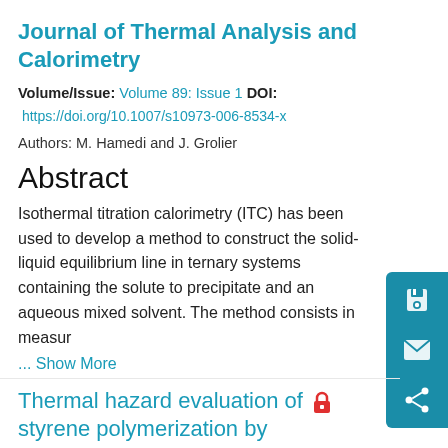Journal of Thermal Analysis and Calorimetry
Volume/Issue: Volume 89: Issue 1 DOI:
https://doi.org/10.1007/s10973-006-8534-x
Authors: M. Hamedi and J. Grolier
Abstract
Isothermal titration calorimetry (ITC) has been used to develop a method to construct the solid-liquid equilibrium line in ternary systems containing the solute to precipitate and an aqueous mixed solvent. The method consists in measur
... Show More
Thermal hazard evaluation of styrene polymerization by